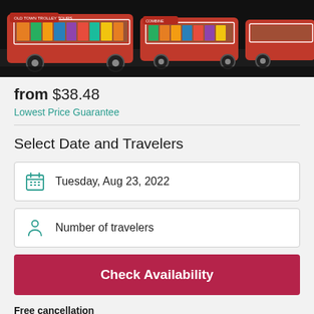[Figure (photo): Photo banner showing red trolley tour buses with passengers on a street]
from $38.48
Lowest Price Guarantee
Select Date and Travelers
Tuesday, Aug 23, 2022
Number of travelers
Check Availability
Free cancellation
Up to 24 hours in advance. Learn more